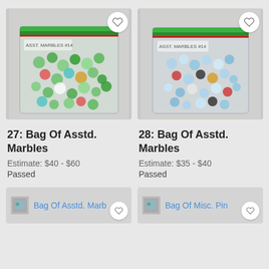[Figure (photo): Photo of a clear plastic zip-lock bag filled with assorted colorful glass marbles, predominantly green and blue, with a green zip top. Labeled #27.]
[Figure (photo): Photo of a clear plastic zip-lock bag filled with assorted colorful glass marbles, predominantly clear/blue with some red and black, with a green zip top. Labeled #14.]
27: Bag Of Asstd. Marbles
Estimate: $40 - $60
Passed
28: Bag Of Asstd. Marbles
Estimate: $35 - $40
Passed
[Figure (photo): Thumbnail image of Bag Of Asstd. Marbles listing]
[Figure (photo): Thumbnail image of Bag Of Misc. Pins listing]